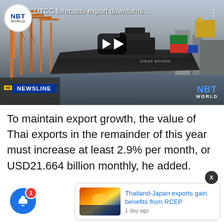[Figure (screenshot): NBT World YouTube video thumbnail showing a cargo ship and port cranes. Title reads 'UTCC forecasts export downturns ...' with play button overlay, NEWSLINE badge at bottom left, NBT WORLD watermark at bottom right.]
To maintain export growth, the value of Thai exports in the remainder of this year must increase at least 2.9% per month, or USD21.664 billion monthly, he added.
[Figure (screenshot): Related article card: 'Thailand-Japan exports gain benefits from RCEP', 1 day ago, with thumbnail showing a port at sunset.]